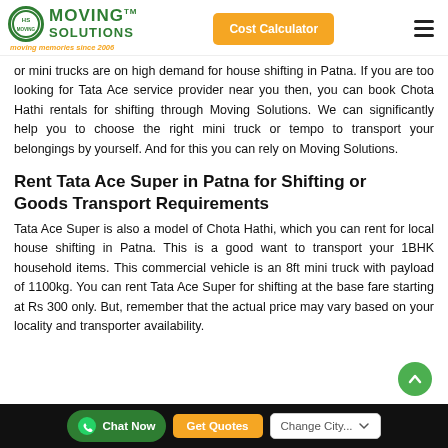Moving Solutions TM — moving memories since 2006 | Cost Calculator
or mini trucks are on high demand for house shifting in Patna. If you are too looking for Tata Ace service provider near you then, you can book Chota Hathi rentals for shifting through Moving Solutions. We can significantly help you to choose the right mini truck or tempo to transport your belongings by yourself. And for this you can rely on Moving Solutions.
Rent Tata Ace Super in Patna for Shifting or Goods Transport Requirements
Tata Ace Super is also a model of Chota Hathi, which you can rent for local house shifting in Patna. This is a good want to transport your 1BHK household items. This commercial vehicle is an 8ft mini truck with payload of 1100kg. You can rent Tata Ace Super for shifting at the base fare starting at Rs 300 only. But, remember that the actual price may vary based on your locality and transporter availability.
Chat Now | Get Quotes | Change City...